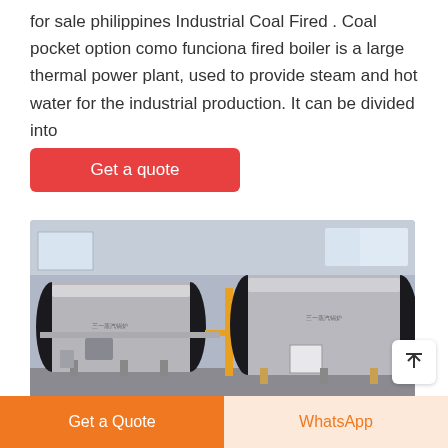for sale philippines Industrial Coal Fired . Coal pocket option como funciona fired boiler is a large thermal power plant, used to provide steam and hot water for the industrial production. It can be divided into
[Figure (other): Red 'Get a quote' button]
[Figure (photo): Industrial boilers in a factory setting — two large cylindrical boilers with black end caps, piping, and yellow structural supports visible in an industrial warehouse]
[Figure (other): Footer with two buttons: orange 'Get a Quote' and light orange 'WhatsApp']